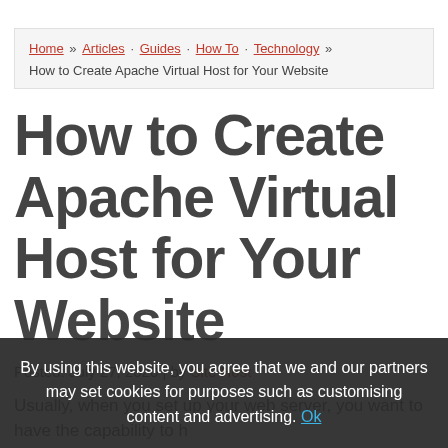Home » Articles · Guides · How To · Technology » How to Create Apache Virtual Host for Your Website
How to Create Apache Virtual Host for Your Website
Posted: July 27, 2020 | by Site Host
Usually, when you set up your web server, you want to have the capability to h…
By using this website, you agree that we and our partners may set cookies for purposes such as customising content and advertising. Ok